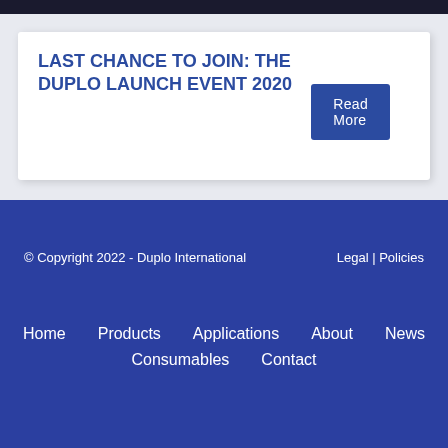LAST CHANCE TO JOIN: THE DUPLO LAUNCH EVENT 2020
Read More
© Copyright 2022 - Duplo International   Legal | Policies
Home
Products
Applications
About
News
Consumables
Contact